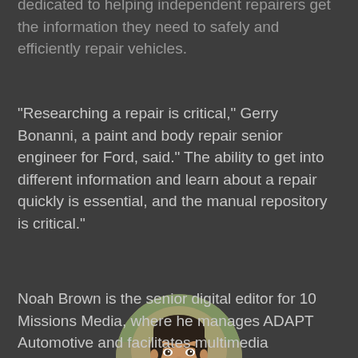dedicated to helping independent repairers get the information they need to safely and efficiently repair vehicles.
"Researching a repair is critical," Gerry Bonanni, a paint and body repair senior engineer for Ford, said." The ability to get into different information and learn about a repair quickly is essential, and the manual repository is critical."
[Figure (photo): Circular portrait photo of a young man with short dark hair, smiling, wearing a blue shirt, with a blurred outdoor background]
Noah Brown is the senior digital editor for 10 Missions Media, where he manages ADAPT Automotive and facilitates multimedia